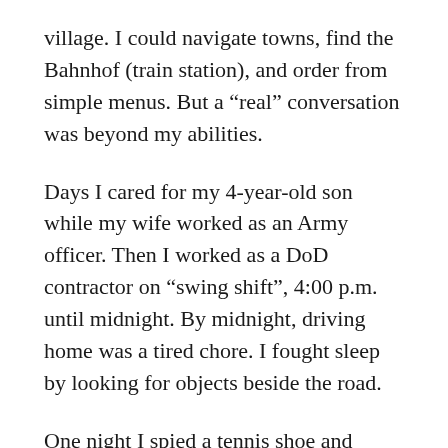village. I could navigate towns, find the Bahnhof (train station), and order from simple menus. But a “real” conversation was beyond my abilities.
Days I cared for my 4-year-old son while my wife worked as an Army officer. Then I worked as a DoD contractor on “swing shift”, 4:00 p.m. until midnight. By midnight, driving home was a tired chore. I fought sleep by looking for objects beside the road.
One night I spied a tennis shoe and sleepily thought, “A shoe!” Next I noted, “Some paper.” I observed a body in the middle of the road. “A body.” I saw the other shoe. “Aha, a pair!” Then